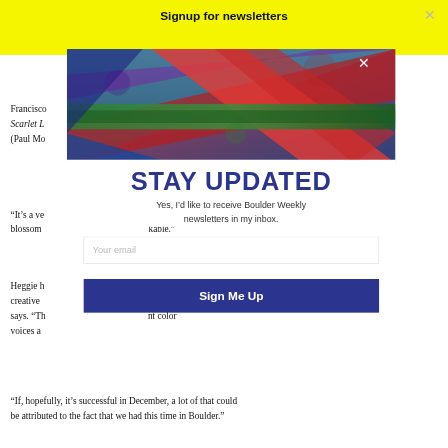Signup for newsletters
Francisco ... The Scarlet L... Shining (Paul Mo
[Figure (photo): Mountain landscape with vivid red, blue, and green hues, close-up of colorful rocky terrain]
STAY UPDATED
Yes, I'd like to receive Boulder Weekly newsletters in my inbox.
It's a ve... [era] has blossom... kable.
Heggie ... N in the creative ... ct," he says. "Th... nt color voices a...
"If, hopefully, it's successful in December, a lot of that could be attributed to the fact that we had this time in Boulder."